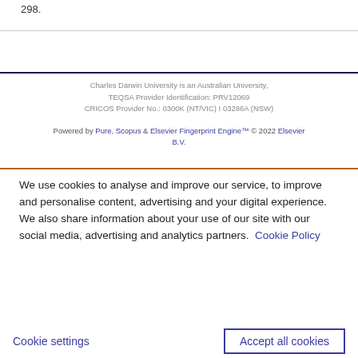298.
Charles Darwin University is an Australian University, TEQSA Provider Identification: PRV12069 CRICOS Provider No.: 0300K (NT/VIC) I 03286A (NSW)
Powered by Pure, Scopus & Elsevier Fingerprint Engine™ © 2022 Elsevier B.V.
We use cookies to analyse and improve our service, to improve and personalise content, advertising and your digital experience. We also share information about your use of our site with our social media, advertising and analytics partners.  Cookie Policy
Cookie settings
Accept all cookies